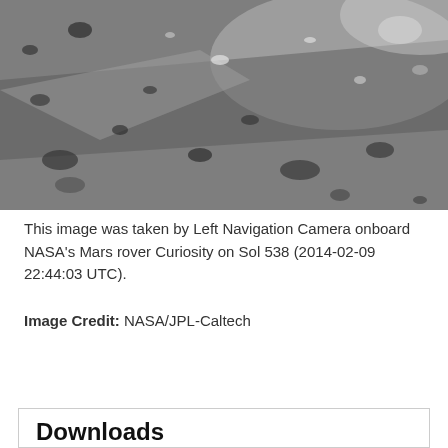[Figure (photo): Black and white photograph of the Martian surface showing rocky terrain, pebbles, and sandy ground taken by NASA's Curiosity rover Left Navigation Camera on Sol 538.]
This image was taken by Left Navigation Camera onboard NASA's Mars rover Curiosity on Sol 538 (2014-02-09 22:44:03 UTC).
Image Credit: NASA/JPL-Caltech
ENLARGE
Downloads